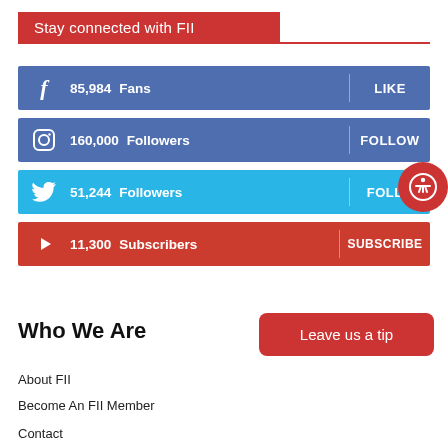Stay connected with FII
[Figure (infographic): Facebook social row: 85,984 Fans | LIKE]
[Figure (infographic): Instagram social row: 160,000 Followers | FOLLOW]
[Figure (infographic): Twitter social row: 51,244 Followers | FOLLOW]
[Figure (infographic): YouTube social row: 11,300 Subscribers | SUBSCRIBE]
Leave us a tip
Who We Are
About FII
Become An FII Member
Contact